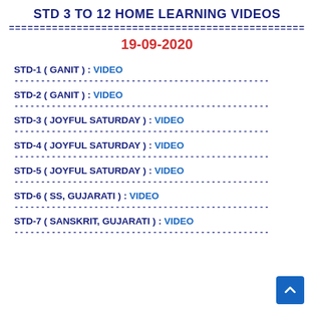STD 3 to 12 HOME LEARNING VIDEOS
================================================
19-09-2020
STD-1 ( GANIT ) : VIDEO
STD-2 ( GANIT ) : VIDEO
STD-3 ( JOYFUL SATURDAY ) : VIDEO
STD-4 ( JOYFUL SATURDAY ) : VIDEO
STD-5 ( JOYFUL SATURDAY ) : VIDEO
STD-6 ( SS, GUJARATI ) : VIDEO
STD-7 ( SANSKRIT, GUJARATI ) : VIDEO